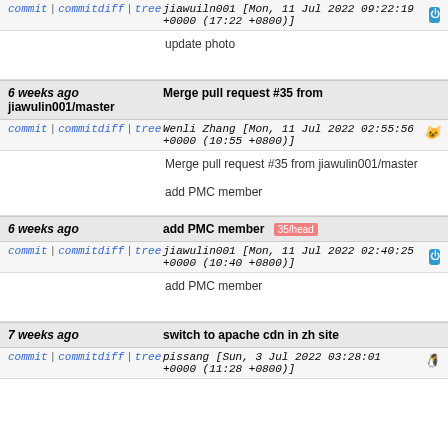commit | commitdiff | tree   jiawuiln001 [Mon, 11 Jul 2022 09:22:19 +0000 (17:22 +0800)]
update photo
6 weeks ago   jiawulin001/master   Merge pull request #35 from
commit | commitdiff | tree   Wenli Zhang [Mon, 11 Jul 2022 02:55:56 +0000 (10:55 +0800)]
Merge pull request #35 from jiawulin001/master

add PMC member
6 weeks ago   add PMC member  35/head
commit | commitdiff | tree   jiawulin001 [Mon, 11 Jul 2022 02:40:25 +0000 (10:40 +0800)]
add PMC member
7 weeks ago   switch to apache cdn in zh site
commit | commitdiff | tree   pissang [Sun, 3 Jul 2022 03:28:01 +0000 (11:28 +0800)]